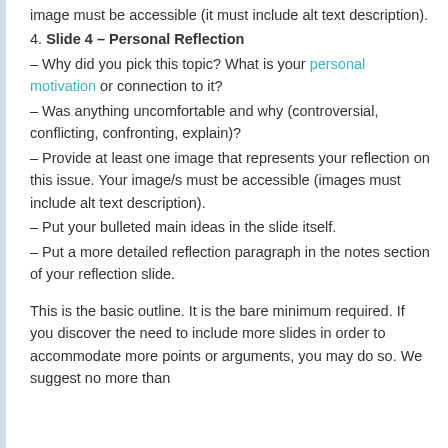image must be accessible (it must include alt text description).
4. Slide 4 – Personal Reflection
– Why did you pick this topic? What is your personal motivation or connection to it?
– Was anything uncomfortable and why (controversial, conflicting, confronting, explain)?
– Provide at least one image that represents your reflection on this issue. Your image/s must be accessible (images must include alt text description).
– Put your bulleted main ideas in the slide itself.
– Put a more detailed reflection paragraph in the notes section of your reflection slide.
This is the basic outline. It is the bare minimum required. If you discover the need to include more slides in order to accommodate more points or arguments, you may do so. We suggest no more than